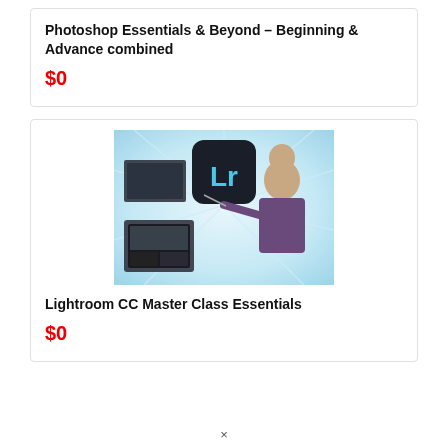Photoshop Essentials & Beyond – Beginning & Advance combined
$0
[Figure (photo): Lightroom CC course thumbnail showing a man pointing at the Adobe Lightroom logo on a light burst background with photography panels]
Lightroom CC Master Class Essentials
$0
×